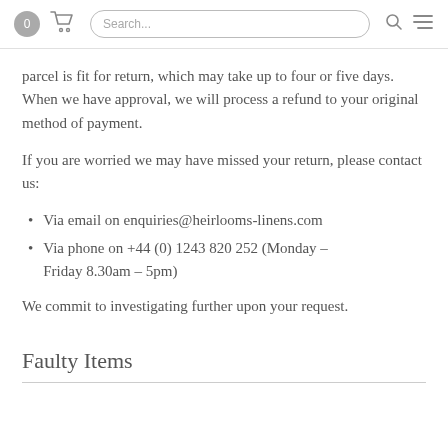0 [cart] Search... [search icon] [menu icon]
parcel is fit for return, which may take up to four or five days. When we have approval, we will process a refund to your original method of payment.
If you are worried we may have missed your return, please contact us:
Via email on enquiries@heirlooms-linens.com
Via phone on +44 (0) 1243 820 252 (Monday – Friday 8.30am – 5pm)
We commit to investigating further upon your request.
Faulty Items